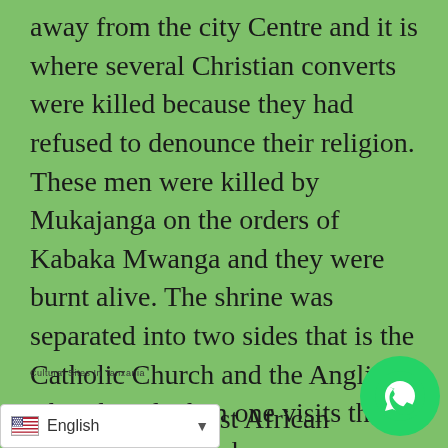away from the city Centre and it is where several Christian converts were killed because they had refused to denounce their religion. These men were killed by Mukajanga on the orders of Kabaka Mwanga and they were burnt alive. The shrine was separated into two sides that is the Catholic Church and the Anglican Church and when one visits the shrine, you get to know more about Uganda during that era. See Cultural tours in Uganda
Cultural Sites In Tanzania
As part of the East African countries, Tanzania
[Figure (other): WhatsApp contact button (green circle with phone/chat icon)]
[Figure (other): English language selector bar with US flag and dropdown arrow]